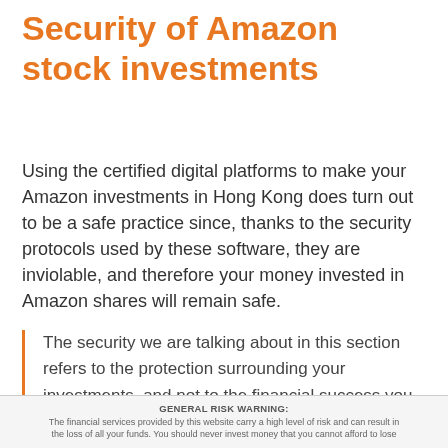Security of Amazon stock investments
Using the certified digital platforms to make your Amazon investments in Hong Kong does turn out to be a safe practice since, thanks to the security protocols used by these software, they are inviolable, and therefore your money invested in Amazon shares will remain safe.
The security we are talking about in this section refers to the protection surrounding your investments, and not to the financial success you may have with them. Generating profits will be
GENERAL RISK WARNING: The financial services provided by this website carry a high level of risk and can result in the loss of all your funds. You should never invest money that you cannot afford to lose